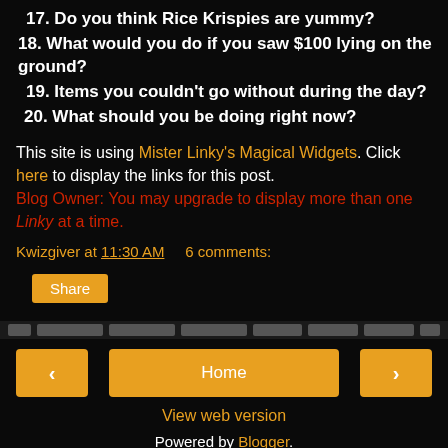17.  Do you think Rice Krispies are yummy?
18. What would you do if you saw $100 lying on the ground?
19.  Items you couldn't go without during the day?
20.  What should you be doing right now?
This site is using Mister Linky's Magical Widgets. Click here to display the links for this post. Blog Owner: You may upgrade to display more than one Linky at a time.
Kwizgiver at 11:30 AM     6 comments:
Share
Home
View web version
Powered by Blogger.